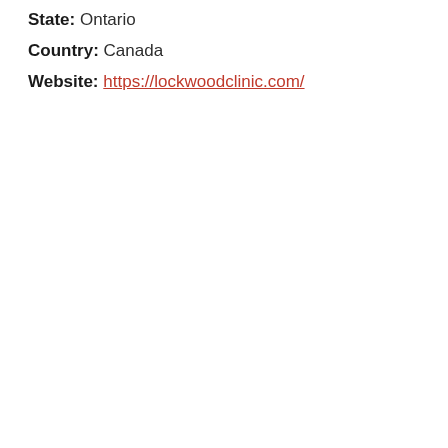State: Ontario
Country: Canada
Website: https://lockwoodclinic.com/